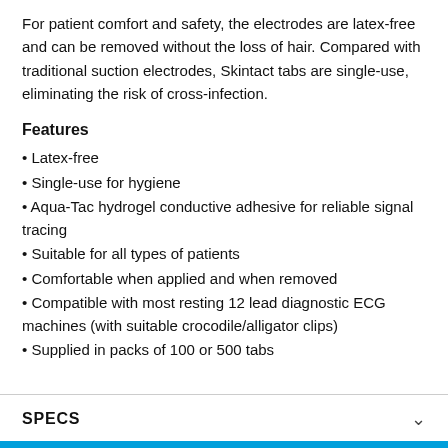For patient comfort and safety, the electrodes are latex-free and can be removed without the loss of hair. Compared with traditional suction electrodes, Skintact tabs are single-use, eliminating the risk of cross-infection.
Features
Latex-free
Single-use for hygiene
Aqua-Tac hydrogel conductive adhesive for reliable signal tracing
Suitable for all types of patients
Comfortable when applied and when removed
Compatible with most resting 12 lead diagnostic ECG machines (with suitable crocodile/alligator clips)
Supplied in packs of 100 or 500 tabs
SPECS